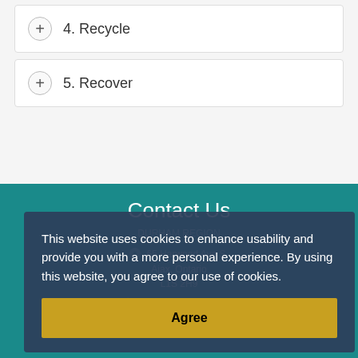+ 4. Recycle
+ 5. Recover
Contact Us
65 Harwood Ave S,
Ajax, Ontario
L1S 2H9
Main 905-683-4550
Auto Attendant 905-619-2529
TTY 1-866-460-4489
This website uses cookies to enhance usability and provide you with a more personal experience. By using this website, you agree to our use of cookies.
Agree